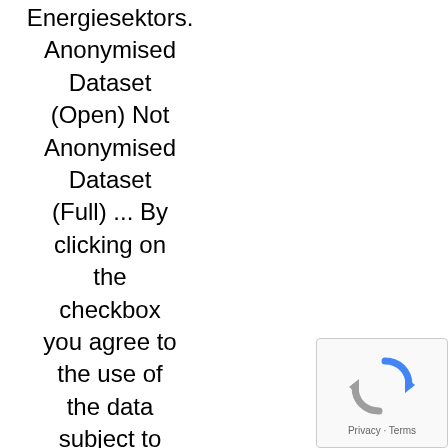Energiesektors. Anonymised Dataset (Open) Not Anonymised Dataset (Full) ... By clicking on the checkbox you agree to the use of the data subject to the terms and conditions set forth below: 1. Auf diesem Portal veröffentlicht die Deutsche Bahn AG
[Figure (other): reCAPTCHA widget showing a recycling/refresh icon in blue and gray, with 'Privacy · Terms' text below]